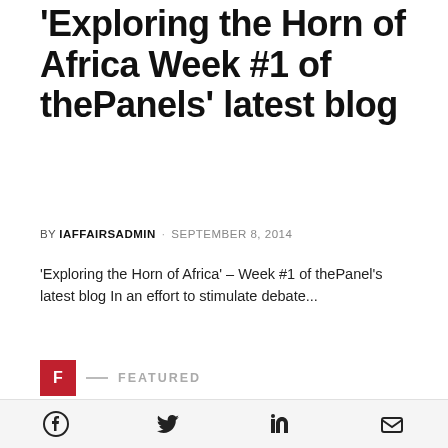'Exploring the Horn of Africa Week #1 of thePanels' latest blog
BY IAFFAIRSADMIN · SEPTEMBER 8, 2014
'Exploring the Horn of Africa' – Week #1 of thePanel's latest blog In an effort to stimulate debate...
F — FEATURED
[Figure (photo): Gray placeholder image]
Social share icons: Facebook, Twitter, LinkedIn, Email